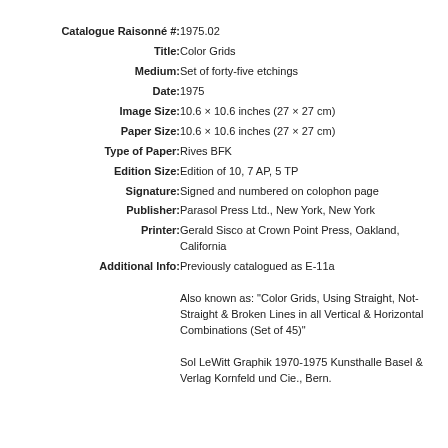| Catalogue Raisonné #: | 1975.02 |
| Title: | Color Grids |
| Medium: | Set of forty-five etchings |
| Date: | 1975 |
| Image Size: | 10.6 × 10.6 inches (27 × 27 cm) |
| Paper Size: | 10.6 × 10.6 inches (27 × 27 cm) |
| Type of Paper: | Rives BFK |
| Edition Size: | Edition of 10, 7 AP, 5 TP |
| Signature: | Signed and numbered on colophon page |
| Publisher: | Parasol Press Ltd., New York, New York |
| Printer: | Gerald Sisco at Crown Point Press, Oakland, California |
| Additional Info: | Previously catalogued as E-11a |
Also known as: "Color Grids, Using Straight, Not-Straight & Broken Lines in all Vertical & Horizontal Combinations (Set of 45)"
Sol LeWitt Graphik 1970-1975 Kunsthalle Basel & Verlag Kornfeld und Cie., Bern.